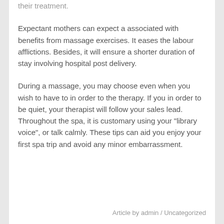their treatment.
Expectant mothers can expect a associated with benefits from massage exercises. It eases the labour afflictions. Besides, it will ensure a shorter duration of stay involving hospital post delivery.
During a massage, you may choose even when you wish to have to in order to the therapy. If you in order to be quiet, your therapist will follow your sales lead. Throughout the spa, it is customary using your "library voice", or talk calmly. These tips can aid you enjoy your first spa trip and avoid any minor embarrassment.
Article by admin / Uncategorized